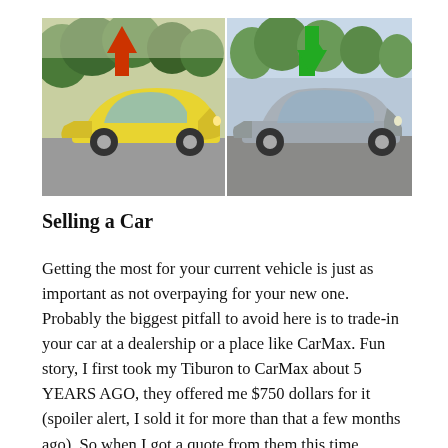[Figure (photo): Two side-by-side car photos. Left: a yellow Hyundai Tiburon coupe with a red upward arrow above it, parked in a lot with trees in background. Right: a silver sedan (Nissan Altima or similar) with a green downward arrow above it, parked in a lot with trees in background.]
Selling a Car
Getting the most for your current vehicle is just as important as not overpaying for your new one. Probably the biggest pitfall to avoid here is to trade-in your car at a dealership or a place like CarMax. Fun story, I first took my Tiburon to CarMax about 5 YEARS AGO, they offered me $750 dollars for it (spoiler alert, I sold it for more than that a few months ago). So when I got a quote from them this time